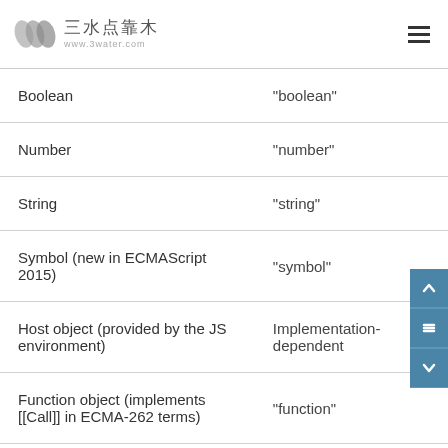三水点靠木 www.3water.com
| Boolean | "boolean" |
| Number | "number" |
| String | "string" |
| Symbol (new in ECMAScript 2015) | "symbol" |
| Host object (provided by the JS environment) | Implementation-dependent |
| Function object (implements [[Call]] in ECMA-262 terms) | "function" |
| Any other object | "object" |